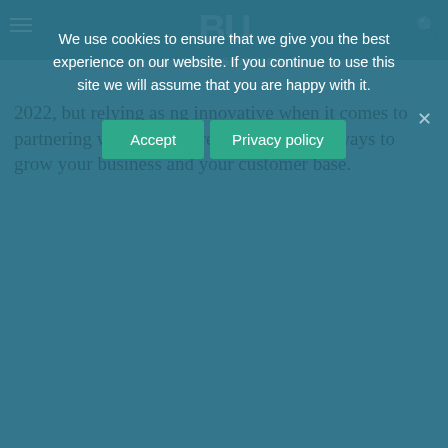Business Upside
2022, but relying as ng innovative when it comes to partnering with others, are two of the best ways to grow your business and your customer base.
We use cookies to ensure that we give you the best experience on our website. If you continue to use this site we will assume that you are happy with it.
Accept | Privacy policy